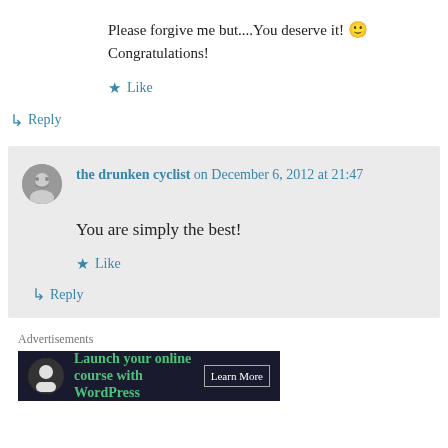Please forgive me but....You deserve it! 🙂 Congratulations!
★ Like
↳ Reply
the drunken cyclist on December 6, 2012 at 21:47
You are simply the best!
★ Like
↳ Reply
Advertisements
Launch your online course with WordPress Learn More